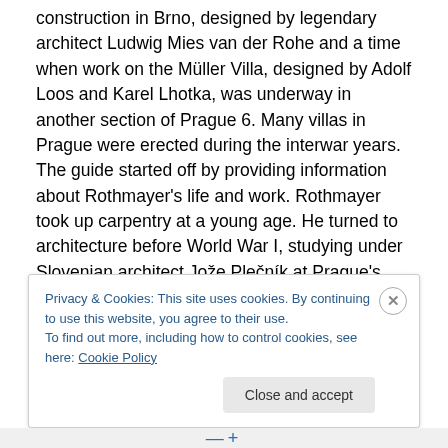construction in Brno, designed by legendary architect Ludwig Mies van der Rohe and a time when work on the Müller Villa, designed by Adolf Loos and Karel Lhotka, was underway in another section of Prague 6. Many villas in Prague were erected during the interwar years. The guide started off by providing information about Rothmayer's life and work. Rothmayer took up carpentry at a young age. He turned to architecture before World War I, studying under Slovenian architect Jože Plečník at Prague's Academy of Applied Arts. Plečník's creations would inspire Rothmayer for the rest of his life. After World
Privacy & Cookies: This site uses cookies. By continuing to use this website, you agree to their use.
To find out more, including how to control cookies, see here: Cookie Policy
Close and accept